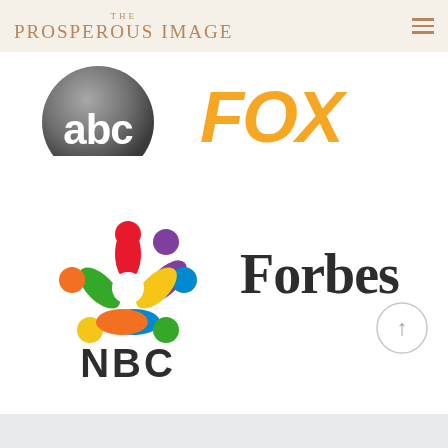THE PROSPEROUS IMAGE
[Figure (logo): ABC network logo - grey circle with abc text]
[Figure (logo): FOX network logo - orange bold text]
[Figure (logo): NBC peacock logo with colorful feathers and NBC text below]
[Figure (logo): Forbes magazine logo - black serif text]